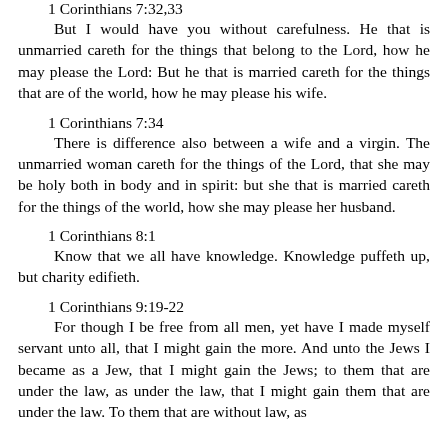1 Corinthians 7:32,33
But I would have you without carefulness. He that is unmarried careth for the things that belong to the Lord, how he may please the Lord: But he that is married careth for the things that are of the world, how he may please his wife.
1 Corinthians 7:34
There is difference also between a wife and a virgin. The unmarried woman careth for the things of the Lord, that she may be holy both in body and in spirit: but she that is married careth for the things of the world, how she may please her husband.
1 Corinthians 8:1
Know that we all have knowledge. Knowledge puffeth up, but charity edifieth.
1 Corinthians 9:19-22
For though I be free from all men, yet have I made myself servant unto all, that I might gain the more. And unto the Jews I became as a Jew, that I might gain the Jews; to them that are under the law, as under the law, that I might gain them that are under the law. To them that are without law, as